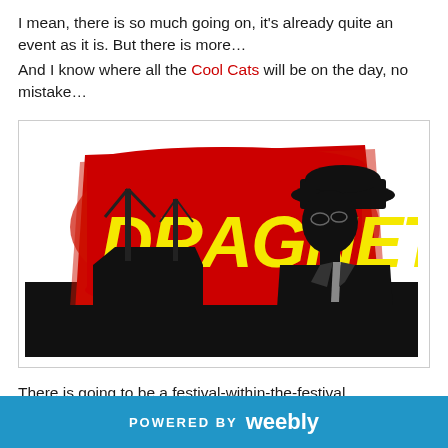I mean, there is so much going on, it's already quite an event as it is. But there is more…
And I know where all the Cool Cats will be on the day, no mistake…
[Figure (logo): Dragnet logo: bold yellow text 'DRAGNET' on red brushstroke background, with silhouette of noir-style detective in hat on the right, and industrial/ship imagery on the left]
There is going to be a festival-within-the-festival.
This year's Village Green will host the pilot for a new literary festival in Southend-on-Sea. Of course, we already have the fab
POWERED BY weebly